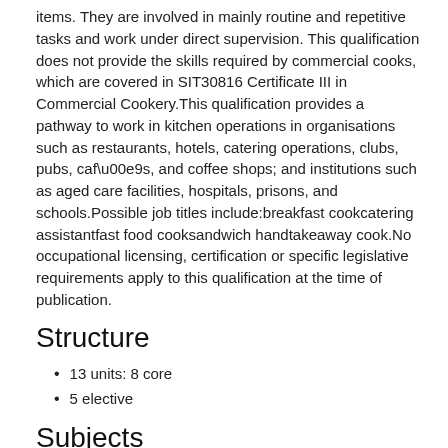items. They are involved in mainly routine and repetitive tasks and work under direct supervision. This qualification does not provide the skills required by commercial cooks, which are covered in SIT30816 Certificate III in Commercial Cookery.This qualification provides a pathway to work in kitchen operations in organisations such as restaurants, hotels, catering operations, clubs, pubs, caf\u00e9s, and coffee shops; and institutions such as aged care facilities, hospitals, prisons, and schools.Possible job titles include:breakfast cookcatering assistantfast food cooksandwich handtakeaway cook.No occupational licensing, certification or specific legislative requirements apply to this qualification at the time of publication.
Structure
13 units: 8 core
5 elective
Subjects